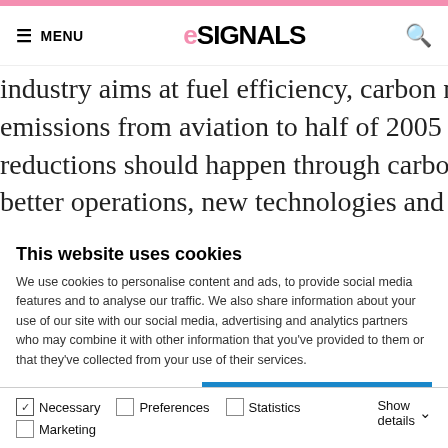eSIGNALS — MENU (navigation header)
industry aims at fuel efficiency, carbon neutral growth and red emissions from aviation to half of 2005 levels by year 2050. A reductions should happen through carbon offsetting, new infra better operations, new technologies and sustainable aviation fu good to know that aviation related CO2 emissions have alread
This website uses cookies
We use cookies to personalise content and ads, to provide social media features and to analyse our traffic. We also share information about your use of our site with our social media, advertising and analytics partners who may combine it with other information that you've provided to them or that they've collected from your use of their services.
Allow all cookies
Allow selection
Use necessary cookies only
Necessary  Preferences  Statistics  Marketing  Show details